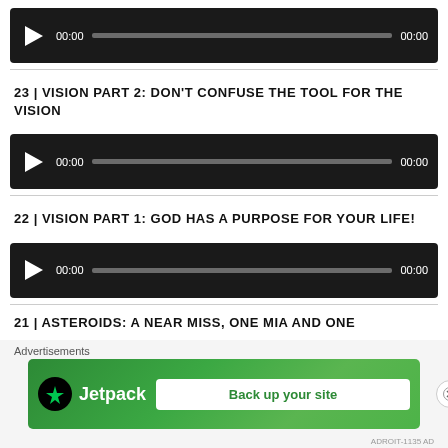[Figure (other): Audio player widget with play button, progress bar, and 00:00 timestamps]
23 | VISION PART 2: DON'T CONFUSE THE TOOL FOR THE VISION
[Figure (other): Audio player widget with play button, progress bar, and 00:00 timestamps]
22 | VISION PART 1: GOD HAS A PURPOSE FOR YOUR LIFE!
[Figure (other): Audio player widget with play button, progress bar, and 00:00 timestamps]
21 | ASTEROIDS: A NEAR MISS, ONE MIA AND ONE
Advertisements
[Figure (other): Jetpack advertisement banner with 'Back up your site' button]